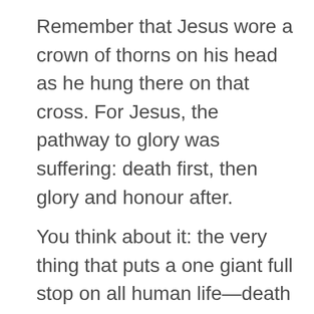Remember that Jesus wore a crown of thorns on his head as he hung there on that cross. For Jesus, the pathway to glory was suffering: death first, then glory and honour after.
You think about it: the very thing that puts a one giant full stop on all human life—death—is the exact the